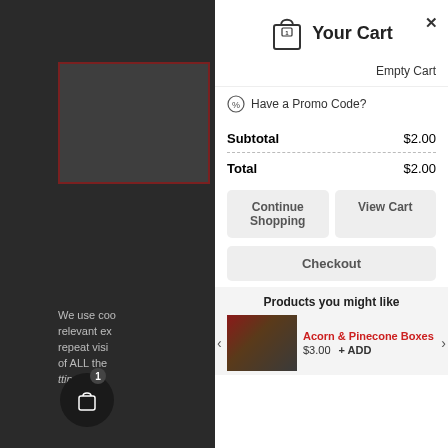Your Cart
Empty Cart
Have a Promo Code?
| Item | Amount |
| --- | --- |
| Subtotal | $2.00 |
| Total | $2.00 |
Continue Shopping
View Cart
Checkout
Products you might like
Acorn & Pinecone Boxes
$3.00
+ ADD
We use coo relevant ex repeat visi of ALL the ttings" to